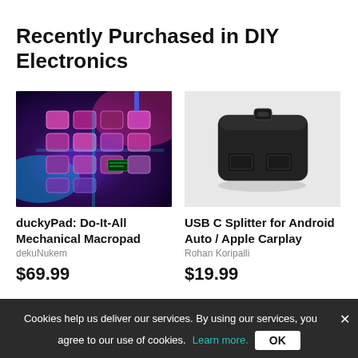Recently Purchased in DIY Electronics
[Figure (photo): duckyPad mechanical macropad with colorful RGB backlighting on a dark background]
duckyPad: Do-It-All Mechanical Macropad
dekuNukem
$69.99
[Figure (photo): Black USB C Splitter device with two USB-C ports on a white background]
USB C Splitter for Android Auto / Apple Carplay
Rohan Koripalli
$19.99
Cookies help us deliver our services. By using our services, you agree to our use of cookies. Learn more. OK